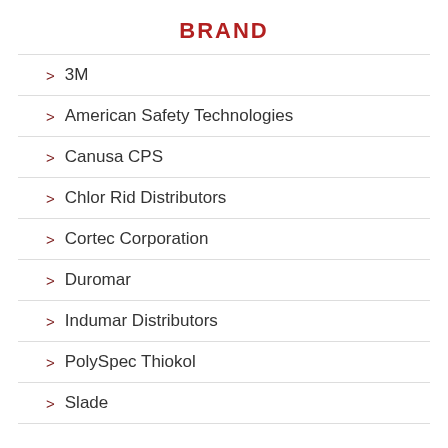BRAND
3M
American Safety Technologies
Canusa CPS
Chlor Rid Distributors
Cortec Corporation
Duromar
Indumar Distributors
PolySpec Thiokol
Slade